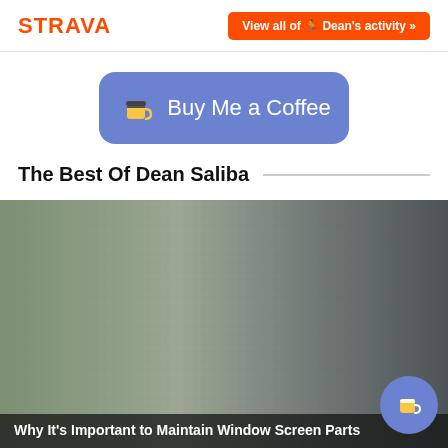STRAVA — View all of 🏃 Dean's activity »
[Figure (other): Buy Me a Coffee button — rounded blue-purple rectangle with coffee cup emoji and text 'Buy Me a Coffee']
The Best Of Dean Saliba
[Figure (photo): Photo of window screen mesh viewed from inside — left portion shows wire mesh texture with outdoor foliage/light, right portion shows grey window frame in shadow]
Thank you for visiting. You can now buy me a coffee!
Why It's Important to Maintain Window Screen Parts